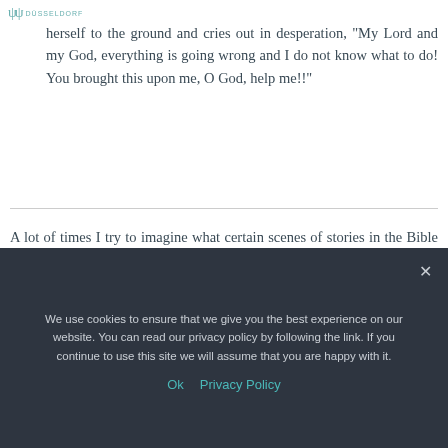Düsseldorf
herself to the ground and cries out in desperation, "My Lord and my God, everything is going wrong and I do not know what to do! You brought this upon me, O God, help me!!"
A lot of times I try to imagine what certain scenes of stories in the Bible must have been like. Often, we get the facts of a story, but not a reflection of the feelings and struggles of the characters involved. I figure that when we try to add some context to a situation, we can
We use cookies to ensure that we give you the best experience on our website. You can read our privacy policy by following the link. If you continue to use this site we will assume that you are happy with it.